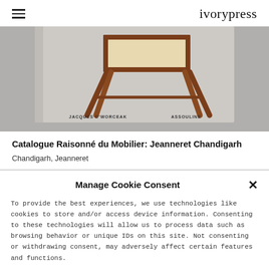ivorypress
[Figure (photo): Book cover of 'Catalogue Raisonné du Mobilier: Jeanneret Chandigarh' by Jacques D'Worceau, published by Assouline. Shows a mid-century modern wooden chair with cane seat against a grey background.]
Catalogue Raisonné du Mobilier: Jeanneret Chandigarh
Chandigarh, Jeanneret
Manage Cookie Consent
To provide the best experiences, we use technologies like cookies to store and/or access device information. Consenting to these technologies will allow us to process data such as browsing behavior or unique IDs on this site. Not consenting or withdrawing consent, may adversely affect certain features and functions.